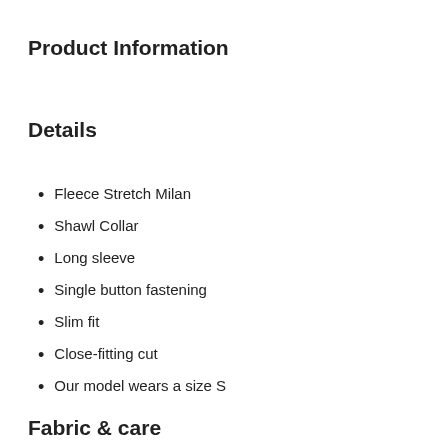Product Information
Details
Fleece Stretch Milan
Shawl Collar
Long sleeve
Single button fastening
Slim fit
Close-fitting cut
Our model wears a size S
Fabric & care